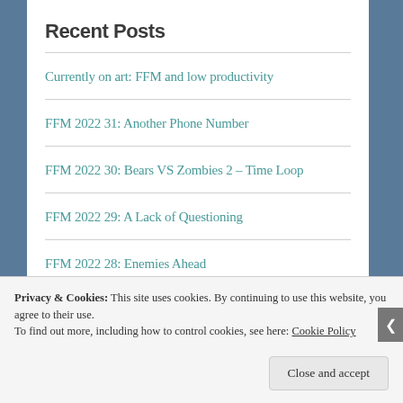Recent Posts
Currently on art: FFM and low productivity
FFM 2022 31: Another Phone Number
FFM 2022 30: Bears VS Zombies 2 – Time Loop
FFM 2022 29: A Lack of Questioning
FFM 2022 28: Enemies Ahead
Privacy & Cookies: This site uses cookies. By continuing to use this website, you agree to their use.
To find out more, including how to control cookies, see here: Cookie Policy
Close and accept